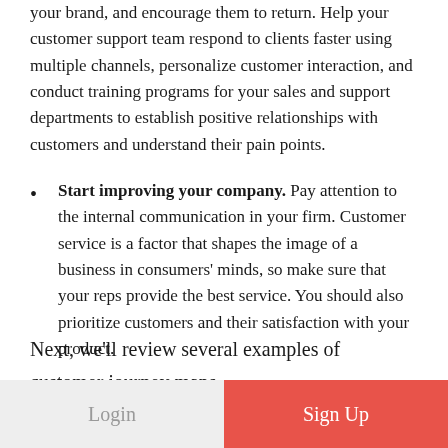your brand, and encourage them to return. Help your customer support team respond to clients faster using multiple channels, personalize customer interaction, and conduct training programs for your sales and support departments to establish positive relationships with customers and understand their pain points.
Start improving your company. Pay attention to the internal communication in your firm. Customer service is a factor that shapes the image of a business in consumers' minds, so make sure that your reps provide the best service. You should also prioritize customers and their satisfaction with your product.
Next, we'll review several examples of customer journey maps.